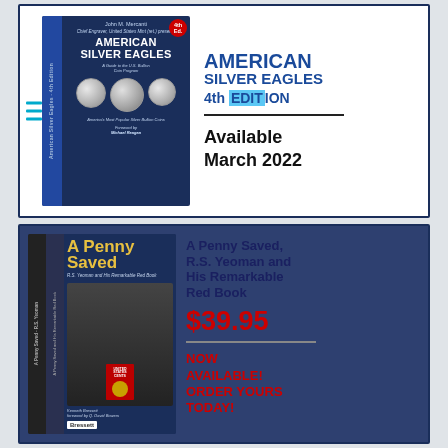[Figure (illustration): American Silver Eagles 4th Edition book cover with coins shown, menu icon lines on left side]
AMERICAN SILVER EAGLES 4th EDITION
Available March 2022
[Figure (illustration): A Penny Saved book cover showing R.S. Yeoman and related imagery]
A Penny Saved, R.S. Yeoman and His Remarkable Red Book
$39.95
NOW AVAILABLE! ORDER YOURS TODAY!